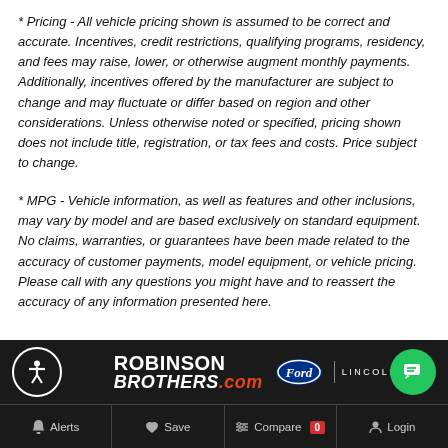* Pricing - All vehicle pricing shown is assumed to be correct and accurate. Incentives, credit restrictions, qualifying programs, residency, and fees may raise, lower, or otherwise augment monthly payments. Additionally, incentives offered by the manufacturer are subject to change and may fluctuate or differ based on region and other considerations. Unless otherwise noted or specified, pricing shown does not include title, registration, or tax fees and costs. Price subject to change.
* MPG - Vehicle information, as well as features and other inclusions, may vary by model and are based exclusively on standard equipment. No claims, warranties, or guarantees have been made related to the accuracy of customer payments, model equipment, or vehicle pricing. Please call with any questions you might have and to reassert the accuracy of any information presented here.
[Figure (logo): Robinson Brothers Ford Lincoln dealership logo with Ford oval and Lincoln brand mark, plus accessibility icon and chat button in dark footer bar with navigation items: Alerts, Save, Compare 0, Login]